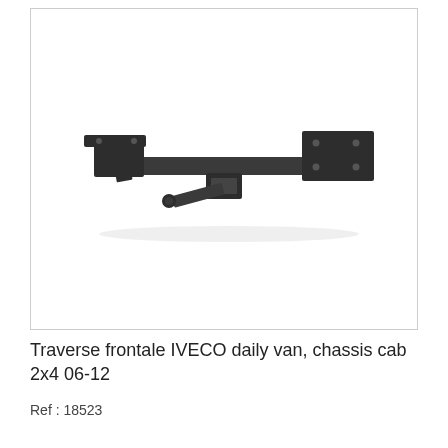[Figure (photo): Front crossbar/traverse for IVECO daily van chassis cab 2x4, a black metal bracket assembly with horizontal bar and mounting flanges]
Traverse frontale IVECO daily van, chassis cab 2x4 06-12
Ref : 18523